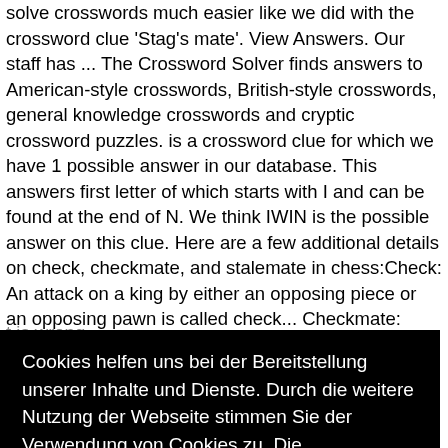solve crosswords much easier like we did with the crossword clue 'Stag's mate'. View Answers. Our staff has ... The Crossword Solver finds answers to American-style crosswords, British-style crosswords, general knowledge crosswords and cryptic crossword puzzles. is a crossword clue for which we have 1 possible answer in our database. This answers first letter of which starts with I and can be found at the end of N. We think IWIN is the possible answer on this clue. Here are a few additional details on check, checkmate, and stalemate in chess:Check: An attack on a king by either an opposing piece or an opposing pawn is called check... Checkmate: When a king has been situation o make. ... imes's this word there's ox veen ers and
Cookies helfen uns bei der Bereitstellung unserer Inhalte und Dienste. Durch die weitere Nutzung der Webseite stimmen Sie der Verwendung von Cookies zu. Die Datenschutzerklärung habe ich zur Kenntnis genommen.  Datenschutzerklärung
Ich bin einverstanden
t is wrong or missing kindly let me know and I will be more than happy to help you out with the right solution for each of the Thomas, Joseph